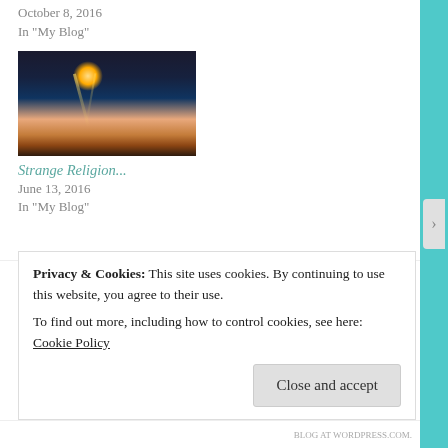October 8, 2016
In "My Blog"
[Figure (photo): Night sky photo with glowing orb/UFO light and light beams over dark landscape with city lights on horizon]
Strange Religion...
June 13, 2016
In "My Blog"
Posted in: My Blog |
Privacy & Cookies: This site uses cookies. By continuing to use this website, you agree to their use.
To find out more, including how to control cookies, see here: Cookie Policy
Close and accept
BLOG AT WORDPRESS.COM.